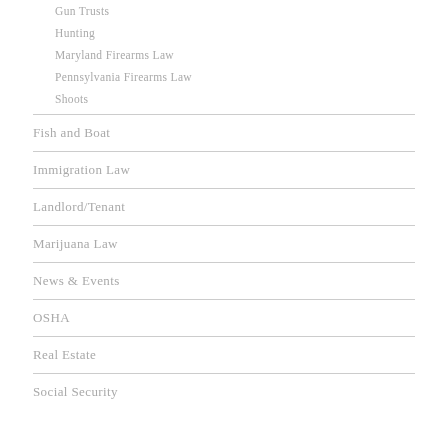Gun Trusts
Hunting
Maryland Firearms Law
Pennsylvania Firearms Law
Shoots
Fish and Boat
Immigration Law
Landlord/Tenant
Marijuana Law
News & Events
OSHA
Real Estate
Social Security